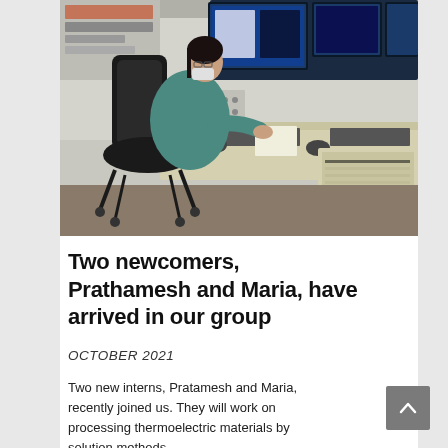[Figure (photo): A researcher in a teal lab coat sits at a large workstation with multiple monitors displaying scientific data/imaging software. The desk has keyboards, mice, and lab control equipment.]
Two newcomers, Prathamesh and Maria, have arrived in our group
OCTOBER 2021
Two new interns, Pratamesh and Maria, recently joined us. They will work on processing thermoelectric materials by solution methods.